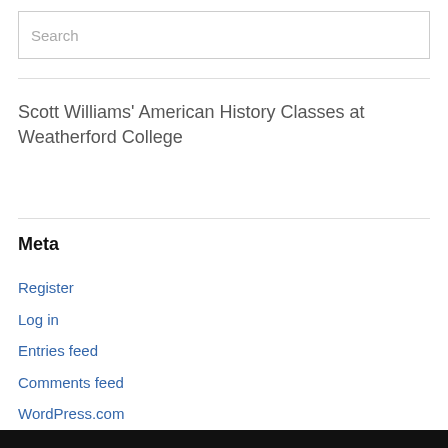Search
Scott Williams' American History Classes at Weatherford College
Meta
Register
Log in
Entries feed
Comments feed
WordPress.com